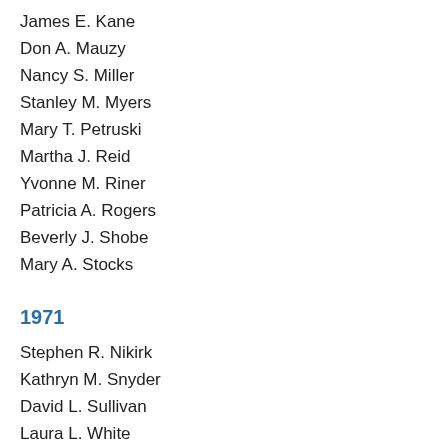James E. Kane
Don A. Mauzy
Nancy S. Miller
Stanley M. Myers
Mary T. Petruski
Martha J. Reid
Yvonne M. Riner
Patricia A. Rogers
Beverly J. Shobe
Mary A. Stocks
1971
Stephen R. Nikirk
Kathryn M. Snyder
David L. Sullivan
Laura L. White
Sandra T. Ahlbring